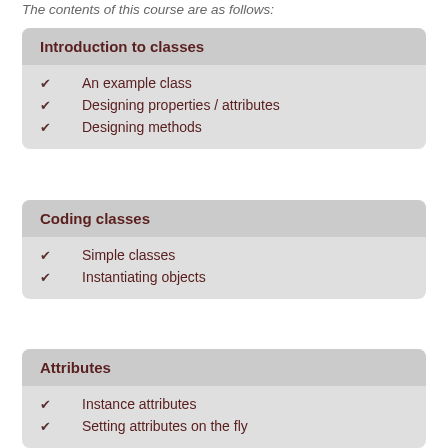The contents of this course are as follows:
Introduction to classes
An example class
Designing properties / attributes
Designing methods
Coding classes
Simple classes
Instantiating objects
Attributes
Instance attributes
Setting attributes on the fly